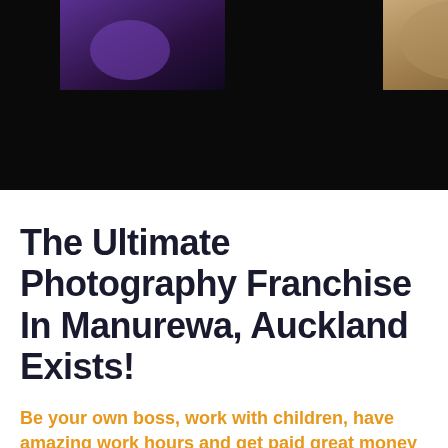[Figure (photo): Top banner with dark background showing two photos: left photo with purple/dark tones, right photo with brown/tan rock or bark texture]
The Ultimate Photography Franchise In Manurewa, Auckland Exists!
Be your own boss, work with children, have amazing work hours and get paid great money doing what you love.
A fully supported business allowing you to enjoy what you do and love the rewards of owning a children photography franchise.